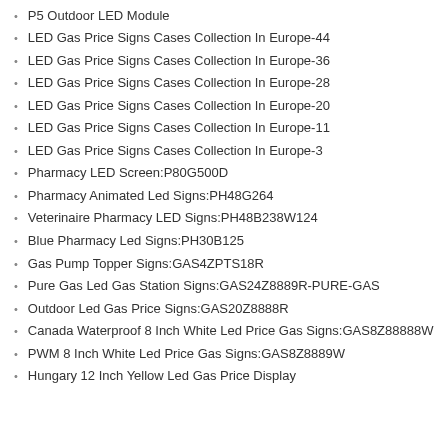P5 Outdoor LED Module
LED Gas Price Signs Cases Collection In Europe-44
LED Gas Price Signs Cases Collection In Europe-36
LED Gas Price Signs Cases Collection In Europe-28
LED Gas Price Signs Cases Collection In Europe-20
LED Gas Price Signs Cases Collection In Europe-11
LED Gas Price Signs Cases Collection In Europe-3
Pharmacy LED Screen:P80G500D
Pharmacy Animated Led Signs:PH48G264
Veterinaire Pharmacy LED Signs:PH48B238W124
Blue Pharmacy Led Signs:PH30B125
Gas Pump Topper Signs:GAS4ZPTS18R
Pure Gas Led Gas Station Signs:GAS24Z8889R-PURE-GAS
Outdoor Led Gas Price Signs:GAS20Z8888R
Canada Waterproof 8 Inch White Led Price Gas Signs:GAS8Z88888W
PWM 8 Inch White Led Price Gas Signs:GAS8Z8889W
Hungary 12 Inch Yellow Led Gas Price Display